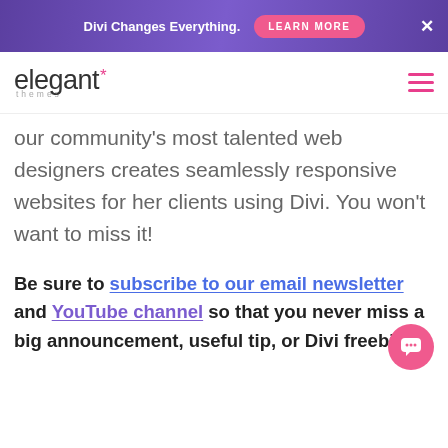Divi Changes Everything. LEARN MORE ×
[Figure (logo): Elegant Themes logo with asterisk and 'themes' text below]
our community's most talented web designers creates seamlessly responsive websites for her clients using Divi. You won't want to miss it!
Be sure to subscribe to our email newsletter and YouTube channel so that you never miss a big announcement, useful tip, or Divi freebie!